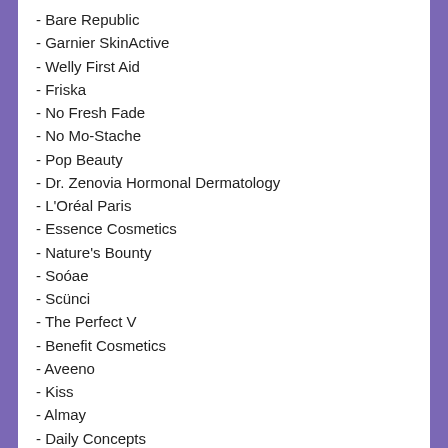- Bare Republic
- Garnier SkinActive
- Welly First Aid
- Friska
- No Fresh Fade
- No Mo-Stache
- Pop Beauty
- Dr. Zenovia Hormonal Dermatology
- L'Oréal Paris
- Essence Cosmetics
- Nature's Bounty
- Soóae
- Scünci
- The Perfect V
- Benefit Cosmetics
- Aveeno
- Kiss
- Almay
- Daily Concepts
- Maybelline New York
- Olay
- Burt's Bees
- Sally Hansen
- Bondi Sands
- L'Oreal Paris
- OHME
- NYX Professional Makeup
- FLOWER Beauty